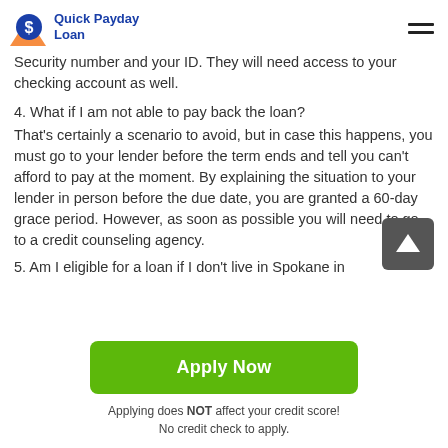Quick Payday Loan
Security number and your ID. They will need access to your checking account as well.
4. What if I am not able to pay back the loan? That's certainly a scenario to avoid, but in case this happens, you must go to your lender before the term ends and tell you can't afford to pay at the moment. By explaining the situation to your lender in person before the due date, you are granted a 60-day grace period. However, as soon as possible you will need to go to a credit counseling agency.
5. Am I eligible for a loan if I don't live in Spokane in
Apply Now
Applying does NOT affect your credit score! No credit check to apply.